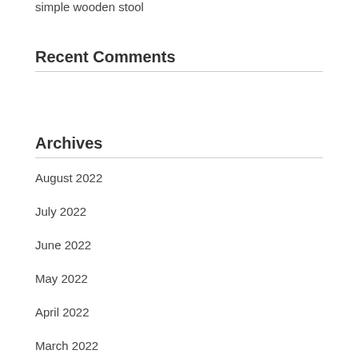simple wooden stool
Recent Comments
Archives
August 2022
July 2022
June 2022
May 2022
April 2022
March 2022
February 2022